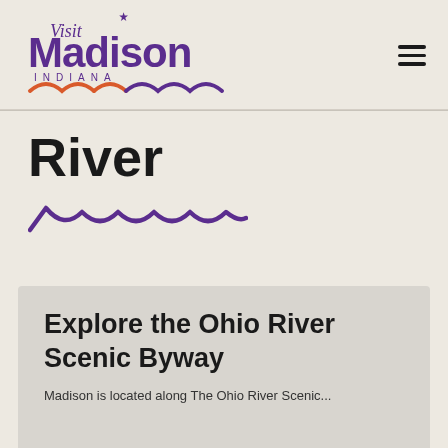[Figure (logo): Visit Madison Indiana logo with wave design in purple and orange]
River
[Figure (illustration): Purple wave decoration graphic]
Explore the Ohio River Scenic Byway
Madison is located along The Ohio River Scenic...